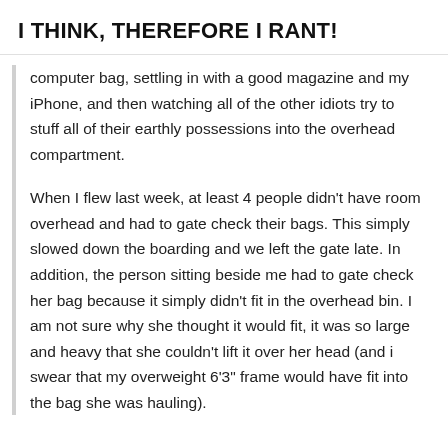I THINK, THEREFORE I RANT!
computer bag, settling in with a good magazine and my iPhone, and then watching all of the other idiots try to stuff all of their earthly possessions into the overhead compartment.
When I flew last week, at least 4 people didn’t have room overhead and had to gate check their bags. This simply slowed down the boarding and we left the gate late. In addition, the person sitting beside me had to gate check her bag because it simply didn’t fit in the overhead bin. I am not sure why she thought it would fit, it was so large and heavy that she couldn’t lift it over her head (and i swear that my overweight 6’3” frame would have fit into the bag she was hauling).